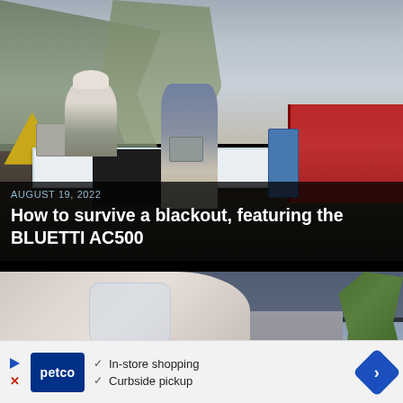[Figure (photo): Outdoor camping scene with two people setting up equipment including a microwave and a large power station (BLUETTI AC500) on a folding table with a dotted tablecloth. A yellow tent and a red vehicle are visible in the background.]
AUGUST 19, 2022
How to survive a blackout, featuring the BLUETTI AC500
[Figure (photo): Close-up of a hand squeezing water from a small plastic cup or bag into a glass, with a plant and window visible in the background.]
In-store shopping
Curbside pickup